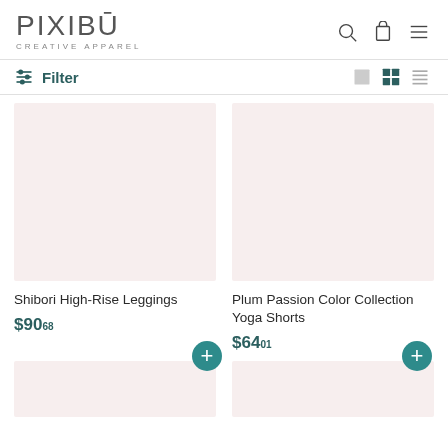PIXIBU CREATIVE APPAREL
Filter
[Figure (photo): Product image placeholder - light pink background for Shibori High-Rise Leggings]
Shibori High-Rise Leggings
$90.68
[Figure (photo): Product image placeholder - light pink background for Plum Passion Color Collection Yoga Shorts]
Plum Passion Color Collection Yoga Shorts
$64.01
[Figure (photo): Product image placeholder - light pink background, bottom row left]
[Figure (photo): Product image placeholder - light pink background, bottom row right]